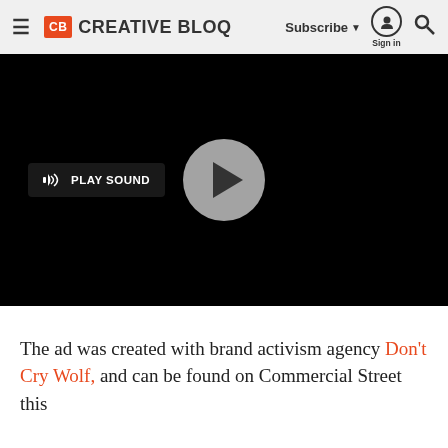CB CREATIVE BLOQ — Subscribe | Sign in | Search
[Figure (screenshot): Embedded video player with black background, a 'PLAY SOUND' button on the left and a circular play button in the center]
The ad was created with brand activism agency Don't Cry Wolf, and can be found on Commercial Street this